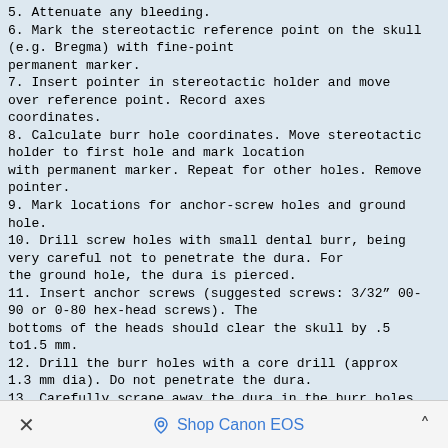5. Attenuate any bleeding.
6. Mark the stereotactic reference point on the skull (e.g. Bregma) with fine-point permanent marker.
7. Insert pointer in stereotactic holder and move over reference point. Record axes coordinates.
8. Calculate burr hole coordinates. Move stereotactic holder to first hole and mark location with permanent marker. Repeat for other holes. Remove pointer.
9. Mark locations for anchor-screw holes and ground hole.
10. Drill screw holes with small dental burr, being very careful not to penetrate the dura. For the ground hole, the dura is pierced.
11. Insert anchor screws (suggested screws: 3/32″ 00-90 or 0-80 hex-head screws). The bottoms of the heads should clear the skull by .5 to1.5 mm.
12. Drill the burr holes with a core drill (approx 1.3 mm dia). Do not penetrate the dura.
13. Carefully scrape away the dura in the burr holes.
14. Attach the microdrive holder to the Stereotactic Adapter. Attach the microdrive to the holder.
15. Move the first guide tube over the stereotactic reference point and lower the microdrive until the guide tube clears the skull by less than 1
×   Shop Canon EOS   ˄